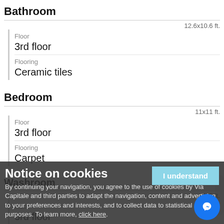Bathroom
12.6x10.6 ft.
Floor
3rd floor
Flooring
Ceramic tiles
Bedroom
11x11 ft.
Floor
3rd floor
Flooring
Carpet
Washroom
7x5 ft.
Floor
3rd floor
Flooring
Ceramic tiles
Notice on cookies
By continuing your navigation, you agree to the use of cookies by Via Capitale and third parties to adapt the navigation, content and advertising to your preferences and interests, and to collect data to statistical purposes. To learn more, click here.
I understand